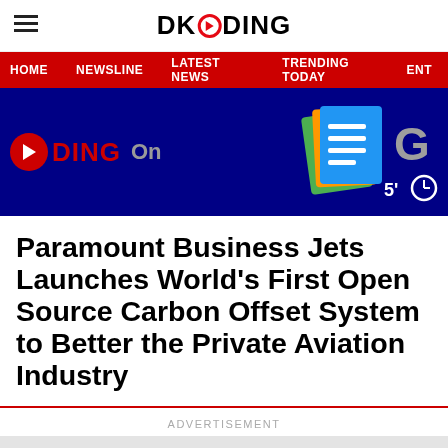DKODING
HOME  NEWSLINE  LATEST NEWS  TRENDING TODAY  ENT
[Figure (screenshot): Dark blue banner with DKODING On branding text and Google News icons on the right]
Paramount Business Jets Launches World's First Open Source Carbon Offset System to Better the Private Aviation Industry
ADVERTISEMENT